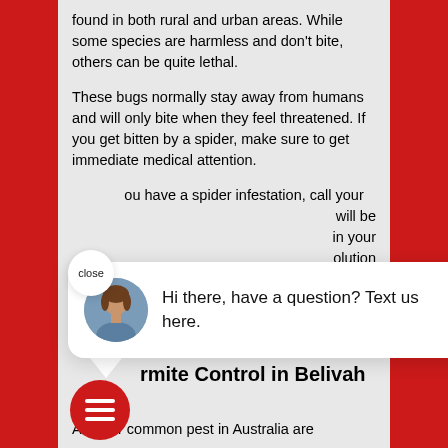found in both rural and urban areas. While some species are harmless and don't bite, others can be quite lethal.
These bugs normally stay away from humans and will only bite when they feel threatened. If you get bitten by a spider, make sure to get immediate medical attention.
If you have a spider infestation, call your [local pest control for help. They] will be [able to help get rid of the spiders] in your [home and provide a lasting] solution
[Figure (screenshot): Chat popup overlay with a woman's avatar photo and the message 'Hi there, have a question? Text us here.' with a close button and a red chat icon button below.]
rmite Control in Belivah
Another common pest in Australia are termites. They cause over a million of dollar...